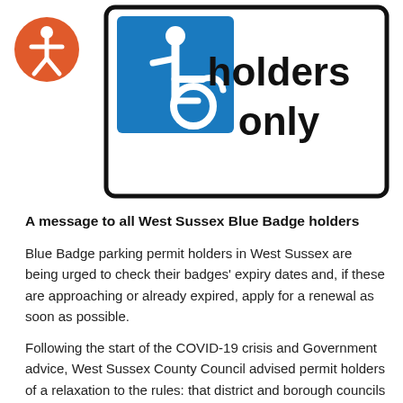[Figure (illustration): A parking sign showing a blue wheelchair accessibility symbol on a blue square background, next to bold text reading 'holders only'. An orange circular accessibility icon with a person symbol is overlaid in the top-left corner.]
A message to all West Sussex Blue Badge holders
Blue Badge parking permit holders in West Sussex are being urged to check their badges' expiry dates and, if these are approaching or already expired, apply for a renewal as soon as possible.
Following the start of the COVID-19 crisis and Government advice, West Sussex County Council advised permit holders of a relaxation to the rules: that district and borough councils in West Sussex should not to prosecute holders of out of date badges